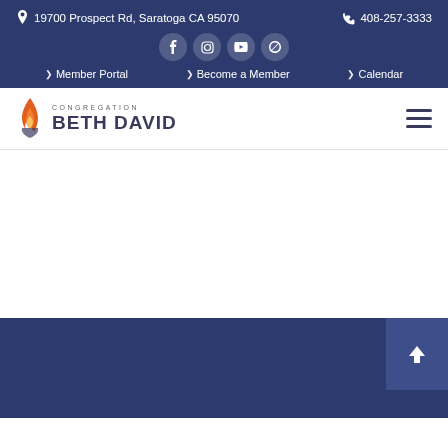19700 Prospect Rd, Saratoga CA 95070   408-257-3333
[Figure (other): Social media icons: Facebook, Instagram, YouTube, Amazon]
> Member Portal
> Become a Member
> Calendar
[Figure (logo): Congregation Beth David logo with flame icon and text]
[Figure (other): Hamburger menu icon (three horizontal lines)]
[Figure (other): Scroll to top button with upward chevron arrow, dark blue background]